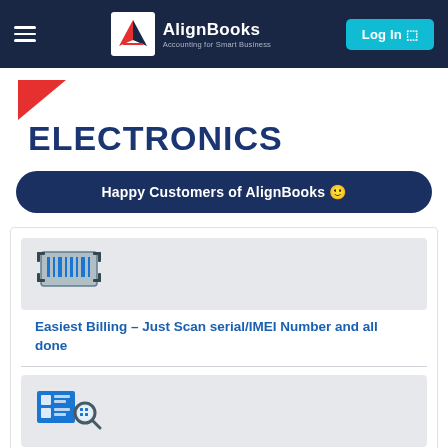AlignBooks – Accounting for Smart Business | Log In
ELECTRONICS
Happy Customers of AlignBooks 🙂
[Figure (illustration): Barcode/chip scanner icon in blue and grey]
Easiest Billing – Just Scan serial/IMEI Number and all done
[Figure (illustration): Inventory tracking icon with magnifying glass]
Serial/IMEI Based Inventory tracking